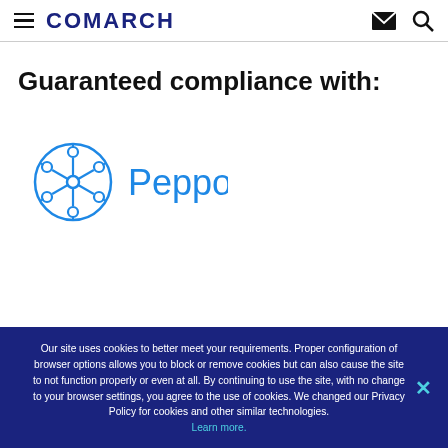COMARCH
Guaranteed compliance with:
[Figure (logo): Peppol logo — a blue star/polygon network icon followed by the word 'Peppol' in blue text]
Our site uses cookies to better meet your requirements. Proper configuration of browser options allows you to block or remove cookies but can also cause the site to not function properly or even at all. By continuing to use the site, with no change to your browser settings, you agree to the use of cookies. We changed our Privacy Policy for cookies and other similar technologies. Learn more.